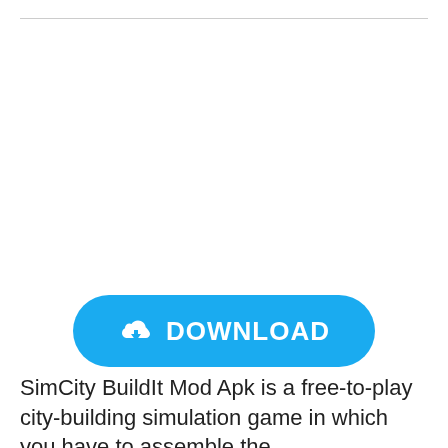[Figure (screenshot): Empty white space area below a thin horizontal rule, above a download button]
[Figure (infographic): A blue rounded-rectangle download button with a cloud-download icon on the left and the text DOWNLOAD in white bold letters]
SimCity BuildIt Mod Apk is a free-to-play city-building simulation game in which you have to assemble the